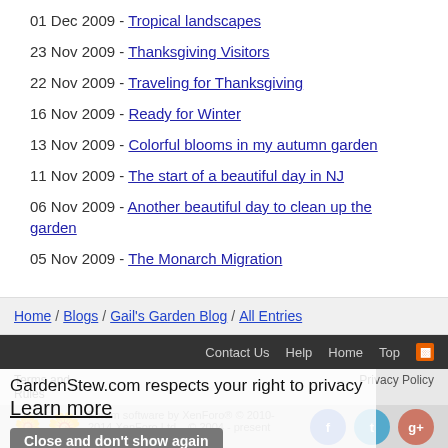01 Dec 2009 - Tropical landscapes
23 Nov 2009 - Thanksgiving Visitors
22 Nov 2009 - Traveling for Thanksgiving
16 Nov 2009 - Ready for Winter
13 Nov 2009 - Colorful blooms in my autumn garden
11 Nov 2009 - The start of a beautiful day in NJ
06 Nov 2009 - Another beautiful day to clean up the garden
05 Nov 2009 - The Monarch Migration
Home / Blogs / Gail's Garden Blog / All Entries
Contact Us  Help  Home  Top  [RSS]
Terms and Rules  Privacy Policy  Forum software by XenForo © 2010-2014 XenForo Ltd.  © 2004 - present GardenStew.com